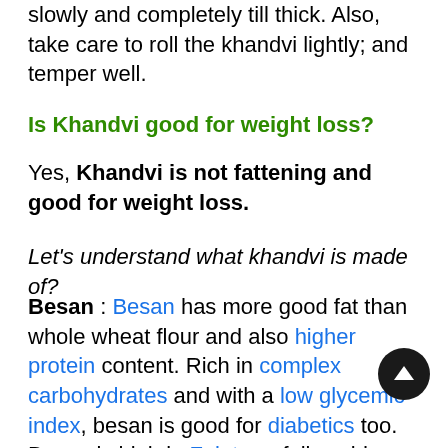slowly and completely till thick. Also, take care to roll the khandvi lightly; and temper well.
Is Khandvi good for weight loss?
Yes, Khandvi is not fattening and good for weight loss.
Let's understand what khandvi is made of?
Besan : Besan has more good fat than whole wheat flour and also higher protein content. Rich in complex carbohydrates and with a low glycemic index, besan is good for diabetics too. Besan is high in Folate or folic acid, which is important for rapid growth and multiplication of red blood cells and WBC's in the bone marrow. See detailed benefits of